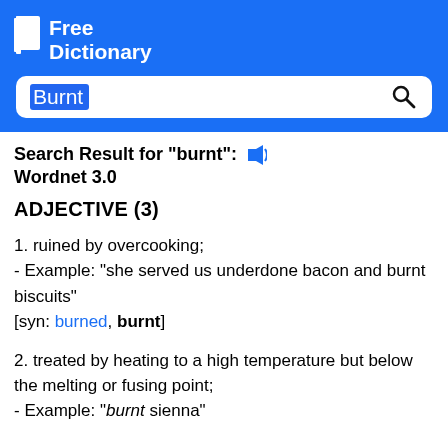[Figure (logo): Free Dictionary logo with book icon and white text on blue background]
Search Result for "burnt": [speaker icon] Wordnet 3.0
ADJECTIVE (3)
1. ruined by overcooking;
- Example: "she served us underdone bacon and burnt biscuits"
[syn: burned, burnt]
2. treated by heating to a high temperature but below the melting or fusing point;
- Example: "burnt sienna"